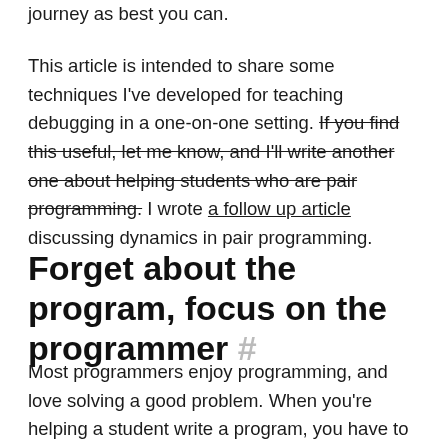journey as best you can.
This article is intended to share some techniques I've developed for teaching debugging in a one-on-one setting. If you find this useful, let me know, and I'll write another one about helping students who are pair programming. I wrote a follow up article discussing dynamics in pair programming.
Forget about the program, focus on the programmer #
Most programmers enjoy programming, and love solving a good problem. When you're helping a student write a program, you have to fight the urge to fix the problem. Forget the program is even there.